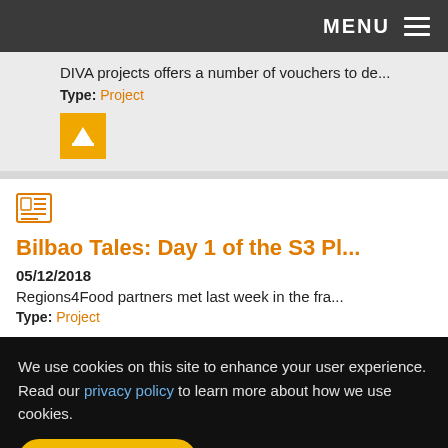MENU
DIVA projects offers a number of vouchers to de...
Type: Project
[Figure (logo): Yellow square icon with a white sailboat/mountain symbol]
[Figure (other): Orange newspaper/article icon]
Bilbao Tales: Day 1 of the S3 Pl...
05/12/2018
Regions4Food partners met last week in the fra...
Type: Project
We use cookies on this site to enhance your user experience. Read our privacy policy to learn more about how we use cookies.
I accept all cookies
I refuse optional cookies